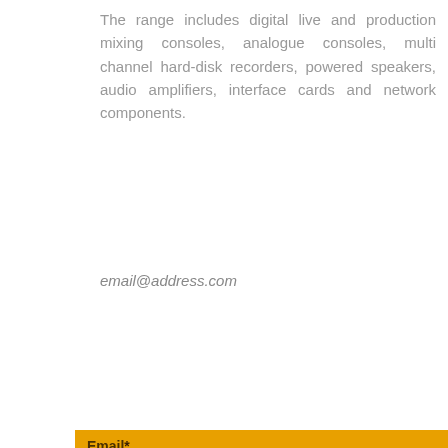The range includes digital live and production mixing consoles, analogue consoles, multi channel hard-disk recorders, powered speakers, audio amplifiers, interface cards and network components.
email@address.com
[Figure (photo): Dark background photo of audio mixing console equipment, blurred/obscured, with 'Contact us' text in orange/amber below and an amber email form bar at the bottom]